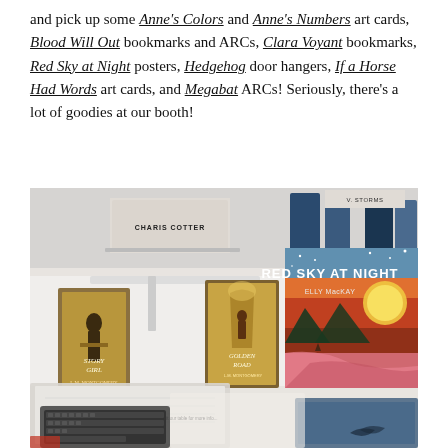and pick up some Anne's Colors and Anne's Numbers art cards, Blood Will Out bookmarks and ARCs, Clara Voyant bookmarks, Red Sky at Night posters, Hedgehog door hangers, If a Horse Had Words art cards, and Megabat ARCs! Seriously, there's a lot of goodies at our booth!
[Figure (photo): Photo of a booth display showing several books on stands including 'Red Sky at Night' by Elly MacKay prominently in the center-right, 'The Golden Road', 'The Story Girl', and other books by Charis Cotter visible in the background. A laptop keyboard and open book pages are visible in the foreground.]